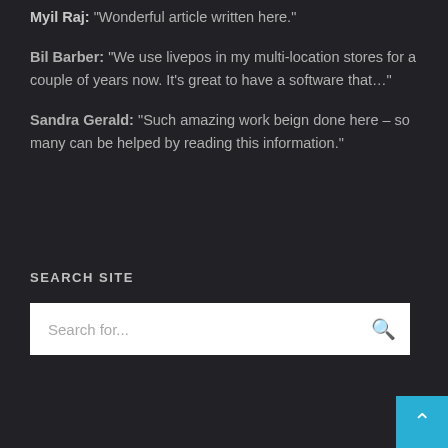Myil Raj: “Wonderful article written here.”
Bil Barber: “We use livepos in my multi-location stores for a couple of years now. It’s great to have a software that…”
Sandra Gerald: “Such amazing work beign done here – so many can be helped by reading this information.”
SEARCH SITE
Search for...